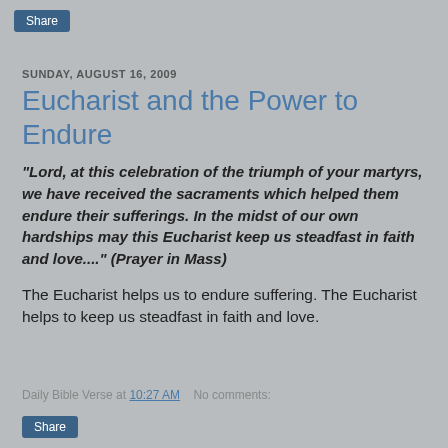Share
SUNDAY, AUGUST 16, 2009
Eucharist and the Power to Endure
"Lord, at this celebration of the triumph of your martyrs, we have received the sacraments which helped them endure their sufferings. In the midst of our own hardships may this Eucharist keep us steadfast in faith and love...." (Prayer in Mass)
The Eucharist helps us to endure suffering. The Eucharist helps to keep us steadfast in faith and love.
Daily Bible Verse at 10:27 AM   No comments:
Share